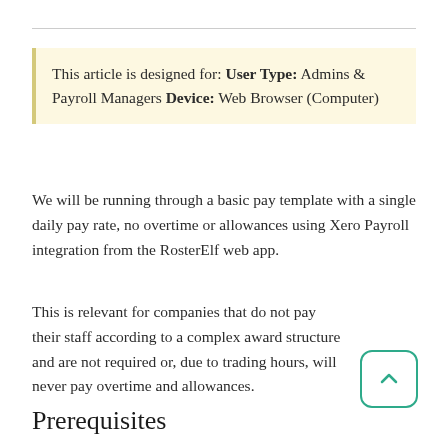This article is designed for: User Type: Admins & Payroll Managers Device: Web Browser (Computer)
We will be running through a basic pay template with a single daily pay rate, no overtime or allowances using Xero Payroll integration from the RosterElf web app.
This is relevant for companies that do not pay their staff according to a complex award structure and are not required or, due to trading hours, will never pay overtime and allowances.
Prerequisites